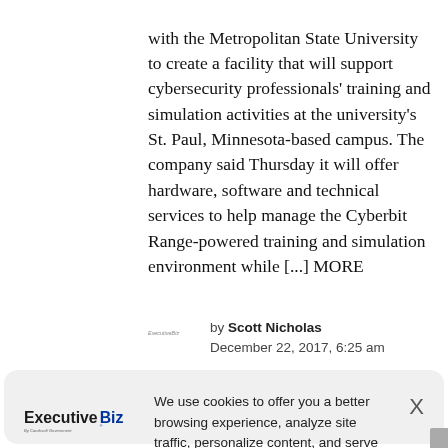with the Metropolitan State University to create a facility that will support cybersecurity professionals' training and simulation activities at the university's St. Paul, Minnesota-based campus. The company said Thursday it will offer hardware, software and technical services to help manage the Cyberbit Range-powered training and simulation environment while [...] MORE
by Scott Nicholas
December 22, 2017, 6:25 am
We use cookies to offer you a better browsing experience, analyze site traffic, personalize content, and serve targeted advertisements. Read about how we use cookies and how you can control them on our Privacy Policy. If you continue to use this site, you consent to our use of cookies.